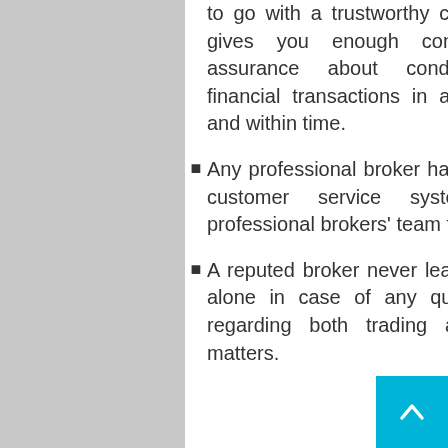to go with a trustworthy company, as it gives you enough confidence and assurance about conducting each financial transactions in a smooth way and within time.
Any professional broker has an excellent customer service system and a professional brokers' team to work.
A reputed broker never leaves its clients alone in case of any query or doubt regarding both trading and technical matters.